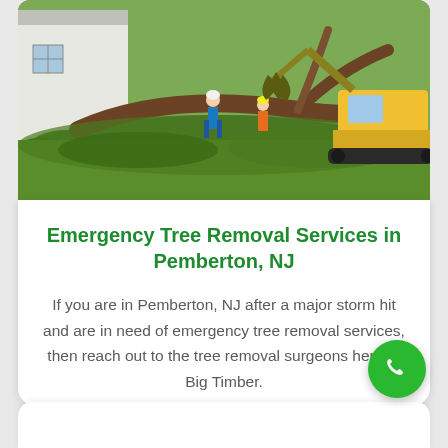[Figure (photo): Outdoor scene showing workers in safety gear clearing fallen trees with heavy yellow machinery (grapple/excavator) on a green lawn next to a house after a storm]
Emergency Tree Removal Services in Pemberton, NJ
If you are in Pemberton, NJ after a major storm hit and are in need of emergency tree removal services, then reach out to the tree removal surgeons here at Big Timber.